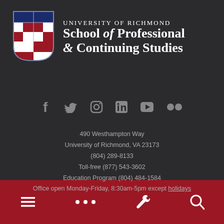[Figure (logo): University of Richmond School of Professional & Continuing Studies logo with shield and text]
[Figure (infographic): Social media icons: Facebook, Twitter, Instagram, LinkedIn, YouTube, Flickr]
490 Westhampton Way
University of Richmond, VA 23173
(804) 289-8133
Toll-free (877) 543-3602
Education Program (804) 484-1584
Office open Monday-Friday, 8:30am-5pm except holidays
[Figure (infographic): Bottom navigation bar with menu, more, wrench/settings, and search icons on dark red background]